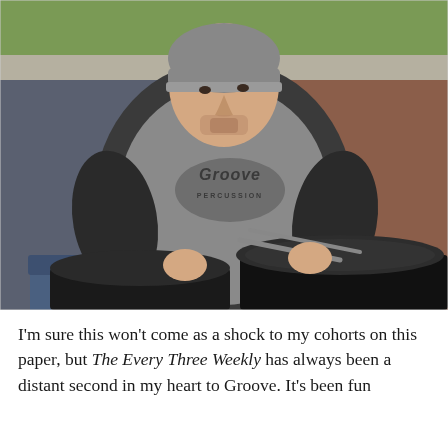[Figure (photo): A young man wearing a grey 'Groove Percussion' t-shirt with black sleeves and a grey beanie hat, sitting between two large black drums/barrels outdoors on a brick plaza, holding drumsticks, looking upward.]
I'm sure this won't come as a shock to my cohorts on this paper, but The Every Three Weekly has always been a distant second in my heart to Groove. It's been fun